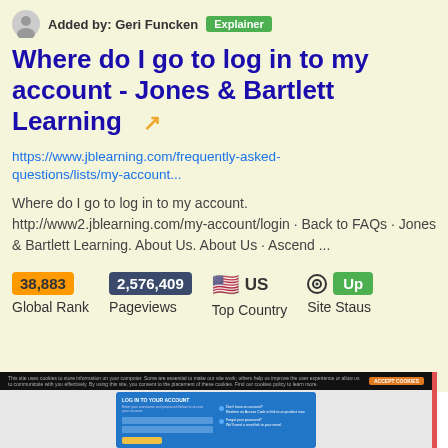Added by: Geri Funcken  Explainer
Where do I go to log in to my account - Jones & Bartlett Learning
https://www.jblearning.com/frequently-asked-questions/lists/my-account...
Where do I go to log in to my account. http://www2.jblearning.com/my-account/login · Back to FAQs · Jones & Bartlett Learning. About Us. About Us · Ascend ...
38,883 Global Rank  2,576,409 Pageviews  US Top Country  Up Site Status
[Figure (screenshot): Screenshot of the Jones & Bartlett Learning login page with a cookie consent banner at top and a blue LOG IN TO YOUR ACCOUNT form in the center]